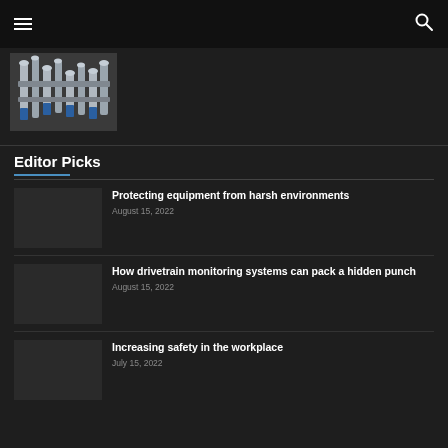☰  🔍
[Figure (photo): Industrial machinery with pipes and fittings, blue coloring visible]
Editor Picks
Protecting equipment from harsh environments
August 15, 2022
How drivetrain monitoring systems can pack a hidden punch
August 15, 2022
Increasing safety in the workplace
July 15, 2022